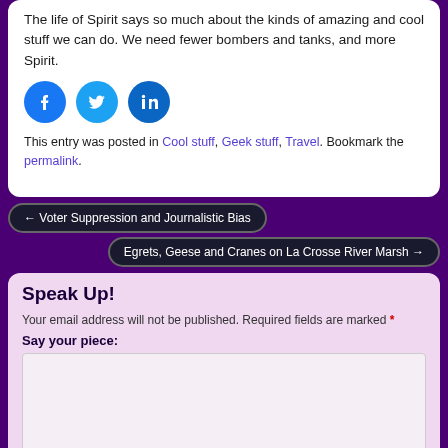The life of Spirit says so much about the kinds of amazing and cool stuff we can do. We need fewer bombers and tanks, and more Spirit.
[Figure (infographic): Three social sharing icons: Facebook (blue circle), Twitter (light blue circle), LinkedIn (dark blue circle)]
This entry was posted in Cool stuff, Geek stuff, Travel. Bookmark the permalink.
← Voter Suppression and Journalistic Bias
Egrets, Geese and Cranes on La Crosse River Marsh →
Speak Up!
Your email address will not be published. Required fields are marked *
Say your piece: